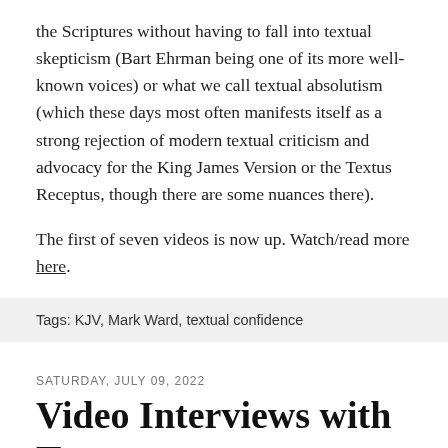the Scriptures without having to fall into textual skepticism (Bart Ehrman being one of its more well-known voices) or what we call textual absolutism (which these days most often manifests itself as a strong rejection of modern textual criticism and advocacy for the King James Version or the Textus Receptus, though there are some nuances there).
The first of seven videos is now up. Watch/read more here.
Tags: KJV, Mark Ward, textual confidence
SATURDAY, JULY 09, 2022
Video Interviews with Text